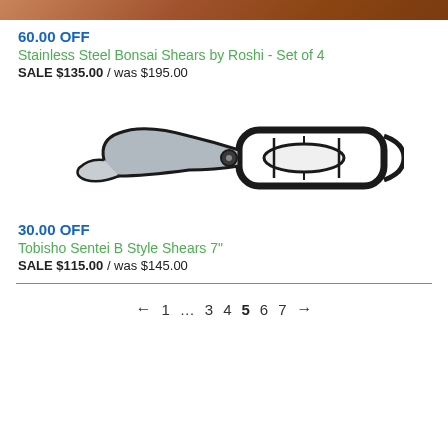[Figure (photo): Top portion of bonsai shears/tool with brown/copper handle, cropped at top of page]
60.00 OFF
Stainless Steel Bonsai Shears by Roshi - Set of 4
SALE $135.00 / was $195.00
[Figure (photo): Black and silver pruning shears / Tobisho Sentei B Style Shears 7 inch, shown in profile view]
30.00 OFF
Tobisho Sentei B Style Shears 7"
SALE $115.00 / was $145.00
← 1 … 3 4 5 6 7 →